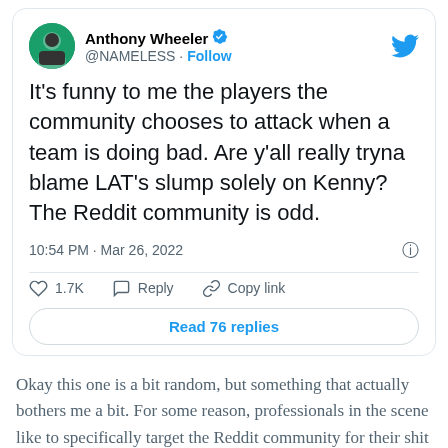[Figure (screenshot): Tweet by Anthony Wheeler (@NAMELESS) with verified badge. Tweet text: It's funny to me the players the community chooses to attack when a team is doing bad. Are y'all really tryna blame LAT's slump solely on Kenny? The Reddit community is odd. Posted at 10:54 PM · Mar 26, 2022. 1.7K likes. Reply and Copy link actions. Read 76 replies button.]
Okay this one is a bit random, but something that actually bothers me a bit. For some reason, professionals in the scene like to specifically target the Reddit community for their shit takes (excuse my language again). While I do not condone the bad takes, I will say that for every bad take you get, there are